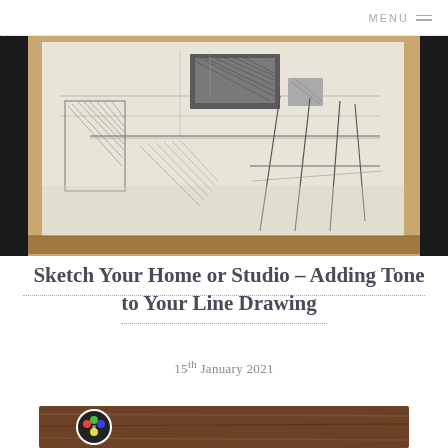MENU ≡
[Figure (photo): A large pencil sketch/drawing on white paper mounted on a wooden easel or board. The drawing depicts an interior scene with chairs, tables, and room furniture rendered in graphite with hatching and tonal shading. The background behind the easel is dark/black.]
Sketch Your Home or Studio – Adding Tone to Your Line Drawing
15th January 2021
[Figure (photo): Bottom portion of a photograph showing a circular logo/avatar icon on a dark brown wooden surface background.]